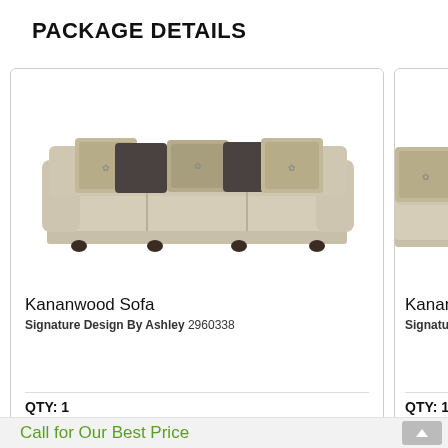PACKAGE DETAILS
[Figure (photo): Kananwood Sofa product photo - a beige/cream three-seat sofa with rolled arms, decorative pillows in dark grey and patterned fabric, dark round legs]
Kananwood Sofa
Signature Design By Ashley 2960338
QTY:  1
[Figure (photo): Partial photo of Kananwood loveseat/chair, showing beige upholstery and partial arm with decorative pillow, cut off at right edge]
Kananw
Signature
QTY:  1
Call for Our Best Price